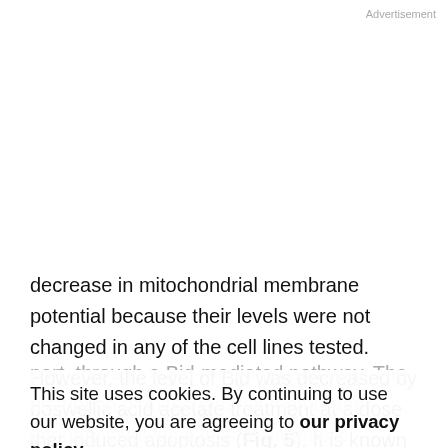Advertisement
decrease in mitochondrial membrane potential because their levels were not changed in any of the cell lines tested. However, the level of Bid was decreased by boswellic acid acetate treatment at a dose that induced apoptosis (Fig. 5). It is known that the cleaved Bid product decreases mitochondrial membrane potential in apoptotic cells (36, 37); thus, it seems that boswellic acid acetate decreases mitochondrial membrane potential, at least in
part, through a Bid-mediated pathway. The disruption of mitochondrial membrane integrity involves a loss of metabolic functions, the release of mitochondrial proteins into the cytosol, and the activation of caspase-3 (15, 31).
This site uses cookies. By continuing to use our website, you are agreeing to our privacy policy.
Accept